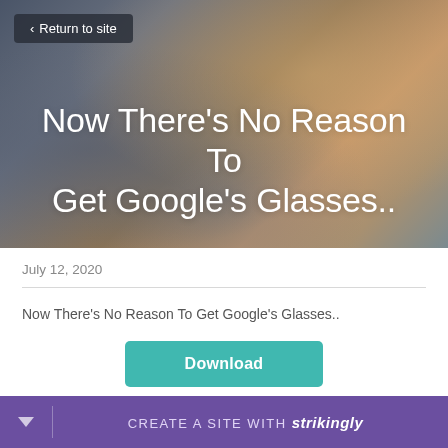[Figure (screenshot): Hero banner with blurred gradient background in warm amber, slate blue, and grey tones]
Now There’s No Reason To Get Google’s Glasses..
July 12, 2020
Now There's No Reason To Get Google's Glasses..
Download
CREATE A SITE WITH strikingly